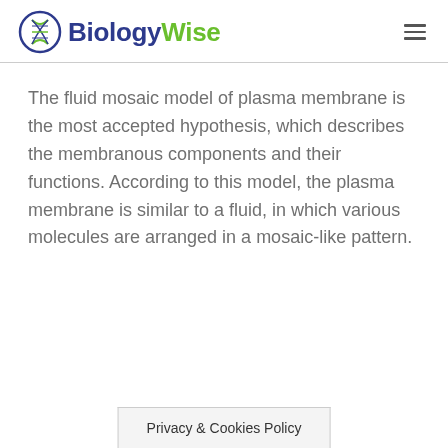BiologyWise
The fluid mosaic model of plasma membrane is the most accepted hypothesis, which describes the membranous components and their functions. According to this model, the plasma membrane is similar to a fluid, in which various molecules are arranged in a mosaic-like pattern.
Privacy & Cookies Policy